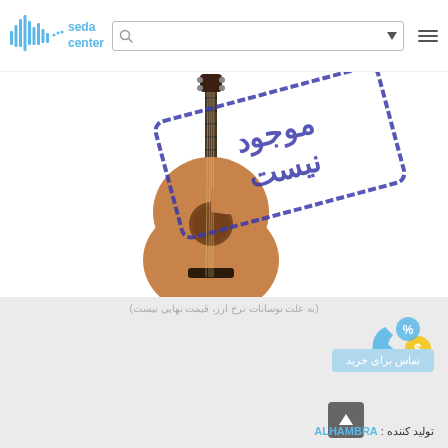[Figure (logo): Seda Center logo with sound wave graphic and blue text reading 'seda center']
[Figure (photo): Classical acoustic guitar (Alhambra brand) shown with a blue stamp overlay reading 'موجود نیست' (not available) in Persian]
(به علت نوسانات نرخ ارز، قیمت نهایی نیست)
[Figure (illustration): Phone call icon with percent and dollar sign symbols, representing price inquiry by phone]
تماس برای خرید
تولید کننده : ALHAMBRA